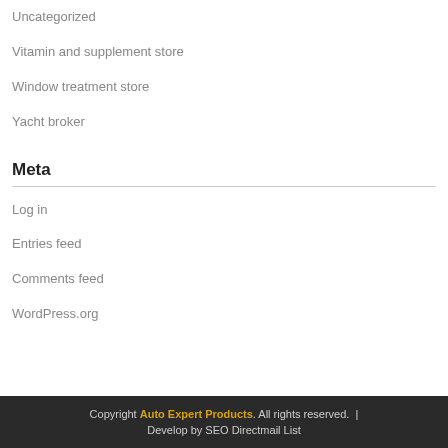Uncategorized
Vitamin and supplement store
Window treatment store
Yacht broker
Meta
Log in
Entries feed
Comments feed
WordPress.org
Copyright Auto Expert Products. All rights reserved.  |  Develop by SEO Directmail List